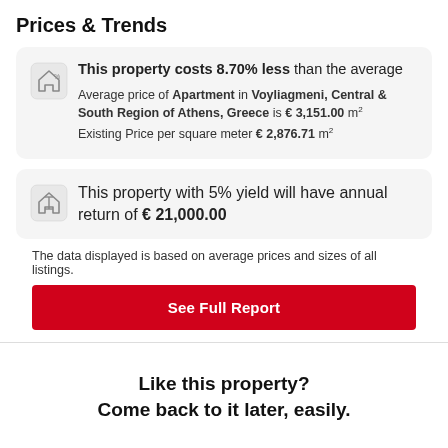Prices & Trends
This property costs 8.70% less than the average
Average price of Apartment in Voyliagmeni, Central & South Region of Athens, Greece is € 3,151.00 m²
Existing Price per square meter € 2,876.71 m²
This property with 5% yield will have annual return of € 21,000.00
The data displayed is based on average prices and sizes of all listings.
See Full Report
Like this property?
Come back to it later, easily.